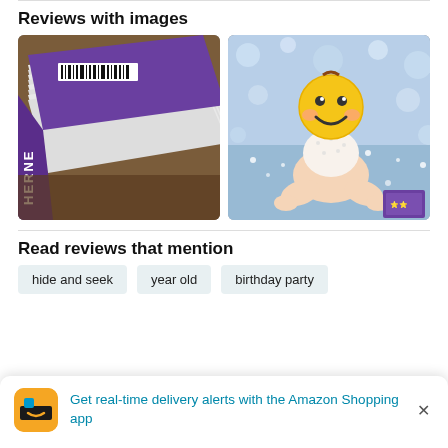Reviews with images
[Figure (photo): Two review photos side by side: left photo shows a purple book spine at an angle (title partially visible as 'HERNE'), right photo shows a baby sitting with an emoji smiley face covering the face, next to a purple book]
Read reviews that mention
hide and seek
year old
birthday party
Get real-time delivery alerts with the Amazon Shopping app